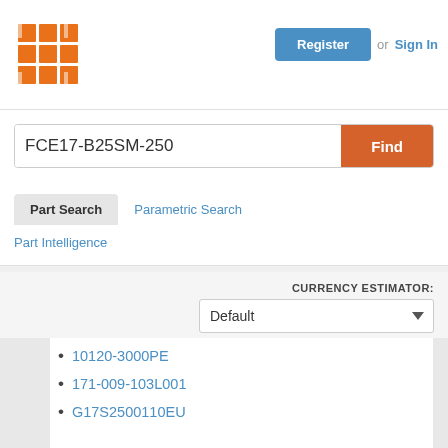[Figure (logo): Orange grid/matrix logo icon]
Register  or  Sign In
FCE17-B25SM-250
Find
Part Search
Parametric Search
Part Intelligence
CURRENCY ESTIMATOR:
Default
10120-3000PE
171-009-103L001
G17S2500110EU
10220-6212PC
12214-1150-00FR
5-747905-2